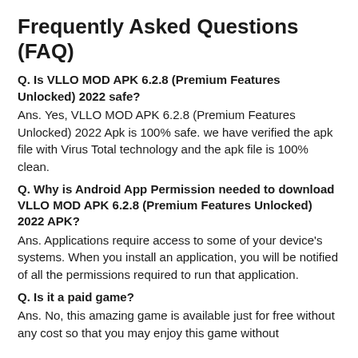Frequently Asked Questions (FAQ)
Q. Is VLLO MOD APK 6.2.8 (Premium Features Unlocked) 2022 safe?
Ans. Yes, VLLO MOD APK 6.2.8 (Premium Features Unlocked) 2022 Apk is 100% safe. we have verified the apk file with Virus Total technology and the apk file is 100% clean.
Q. Why is Android App Permission needed to download VLLO MOD APK 6.2.8 (Premium Features Unlocked) 2022 APK?
Ans. Applications require access to some of your device's systems. When you install an application, you will be notified of all the permissions required to run that application.
Q. Is it a paid game?
Ans. No, this amazing game is available just for free without any cost so that you may enjoy this game without